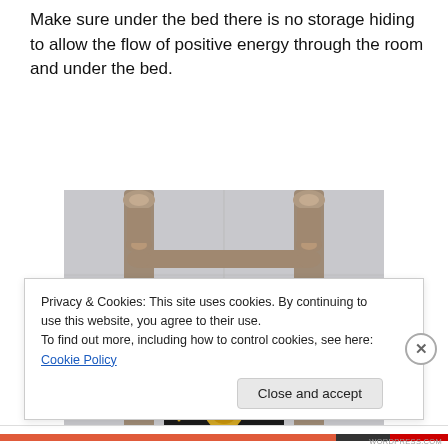Make sure under the bed there is no storage hiding to allow the flow of positive energy through the room and under the bed.
[Figure (photo): A decorative wooden bed headboard with ornate spindle posts in light wood, featuring a central dark black panel decorated with gold celestial motifs including a sun, moon, and stars, photographed against a white/grey wall.]
Privacy & Cookies: This site uses cookies. By continuing to use this website, you agree to their use.
To find out more, including how to control cookies, see here: Cookie Policy
Close and accept